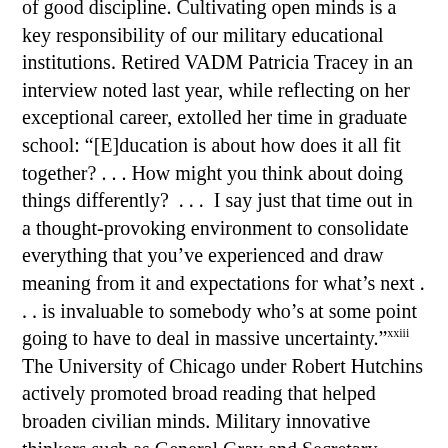of good discipline. Cultivating open minds is a key responsibility of our military educational institutions. Retired VADM Patricia Tracey in an interview noted last year, while reflecting on her exceptional career, extolled her time in graduate school: “[E]ducation is about how does it all fit together? . . . How might you think about doing things differently? . . . I say just that time out in a thought-provoking environment to consolidate everything that you’ve experienced and draw meaning from it and expectations for what’s next . . . is invaluable to somebody who’s at some point going to have to deal in massive uncertainty.”xxiii The University of Chicago under Robert Hutchins actively promoted broad reading that helped broaden civilian minds. Military innovative thinkers such as General Gray and Secretary Mattis are famously avid (and broad) readers. Mattis said in 2003